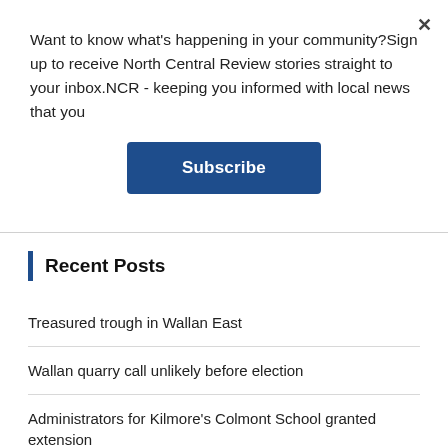Want to know what's happening in your community?Sign up to receive North Central Review stories straight to your inbox.NCR - keeping you informed with local news that you
Subscribe
Recent Posts
Treasured trough in Wallan East
Wallan quarry call unlikely before election
Administrators for Kilmore's Colmont School granted extension
Macedon Ranges businesses feature in TV series The Block
WR (2022-08-30)